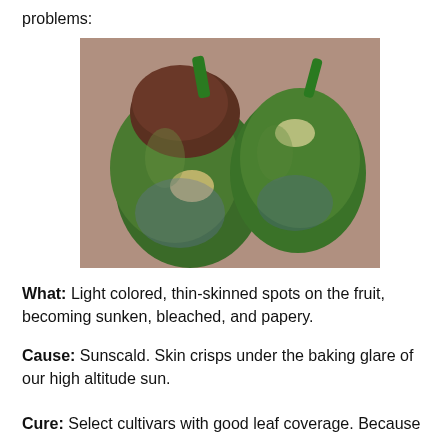problems:
[Figure (photo): Two green bell peppers with light-colored, sunken, bleached spots on their skin — symptoms of sunscald damage]
What:  Light colored, thin-skinned spots on the fruit, becoming sunken, bleached, and papery.
Cause:  Sunscald.  Skin crisps under the baking glare of our high altitude sun.
Cure:  Select cultivars with good leaf coverage.  Because